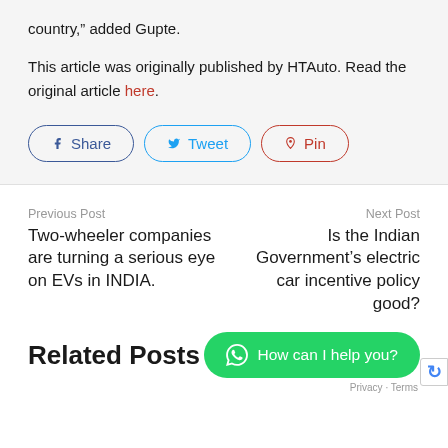country,” added Gupte.
This article was originally published by HTAuto. Read the original article here.
[Figure (other): Social sharing buttons: Share (Facebook), Tweet (Twitter), Pin (Pinterest)]
Previous Post
Two-wheeler companies are turning a serious eye on EVs in INDIA.
Next Post
Is the Indian Government’s electric car incentive policy good?
Related Posts
[Figure (other): WhatsApp chat button: How can I help you?]
Privacy · Terms